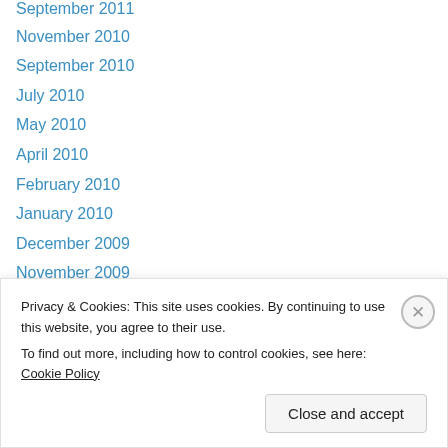September 2011
November 2010
September 2010
July 2010
May 2010
April 2010
February 2010
January 2010
December 2009
November 2009
October 2009
September 2009
August 2009
July 2009
Privacy & Cookies: This site uses cookies. By continuing to use this website, you agree to their use.
To find out more, including how to control cookies, see here: Cookie Policy